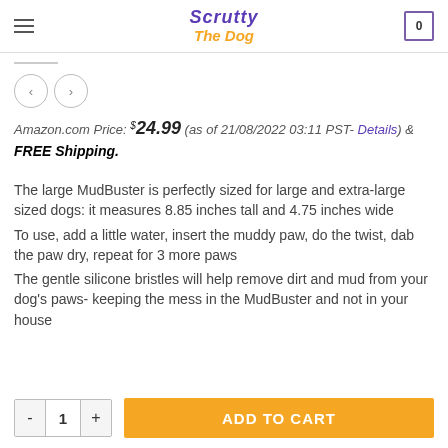Scrutty The Dog
Amazon.com Price: $24.99 (as of 21/08/2022 03:11 PST- Details) & FREE Shipping.
The large MudBuster is perfectly sized for large and extra-large sized dogs: it measures 8.85 inches tall and 4.75 inches wide
To use, add a little water, insert the muddy paw, do the twist, dab the paw dry, repeat for 3 more paws
The gentle silicone bristles will help remove dirt and mud from your dog's paws- keeping the mess in the MudBuster and not in your house